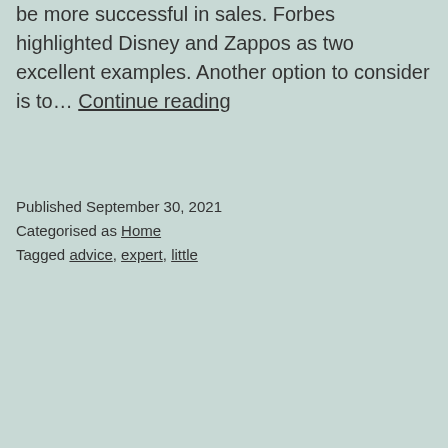be more successful in sales. Forbes highlighted Disney and Zappos as two excellent examples. Another option to consider is to… Continue reading
Published September 30, 2021
Categorised as Home
Tagged advice, expert, little